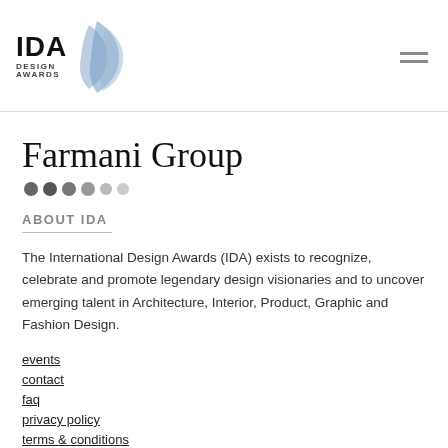[Figure (logo): IDA Design Awards logo with stylized blue leaf/arrow shape and text 'IDA DESIGN AWARDS']
Farmani Group
ABOUT IDA
The International Design Awards (IDA) exists to recognize, celebrate and promote legendary design visionaries and to uncover emerging talent in Architecture, Interior, Product, Graphic and Fashion Design.
events
contact
faq
privacy policy
terms & conditions